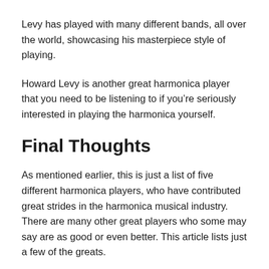Levy has played with many different bands, all over the world, showcasing his masterpiece style of playing.
Howard Levy is another great harmonica player that you need to be listening to if you’re seriously interested in playing the harmonica yourself.
Final Thoughts
As mentioned earlier, this is just a list of five different harmonica players, who have contributed great strides in the harmonica musical industry. There are many other great players who some may say are as good or even better. This article lists just a few of the greats.